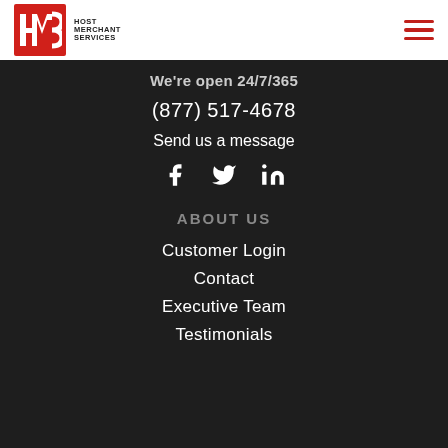[Figure (logo): Host Merchant Services logo — red square with white HMS letters, followed by text HOST MERCHANT SERVICES]
[Figure (other): Hamburger menu icon with three red horizontal lines]
We're open 24/7/365
(877) 517-4678
Send us a message
[Figure (other): Social media icons: Facebook (f), Twitter (bird), LinkedIn (in)]
ABOUT US
Customer Login
Contact
Executive Team
Testimonials